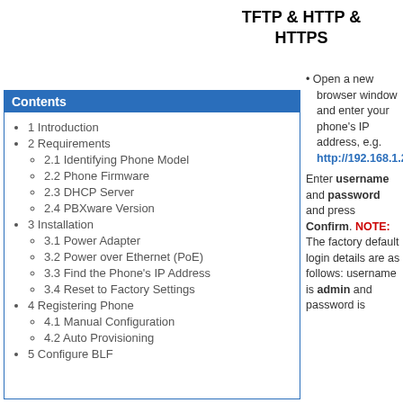TFTP & HTTP & HTTPS
Open a new browser window and enter your phone's IP address, e.g. http://192.168.1.2
Contents
1 Introduction
2 Requirements
2.1 Identifying Phone Model
2.2 Phone Firmware
2.3 DHCP Server
2.4 PBXware Version
3 Installation
3.1 Power Adapter
3.2 Power over Ethernet (PoE)
3.3 Find the Phone's IP Address
3.4 Reset to Factory Settings
4 Registering Phone
4.1 Manual Configuration
4.2 Auto Provisioning
5 Configure BLF
Enter username and password and press Confirm. NOTE: The factory default login details are as follows: username is admin and password is